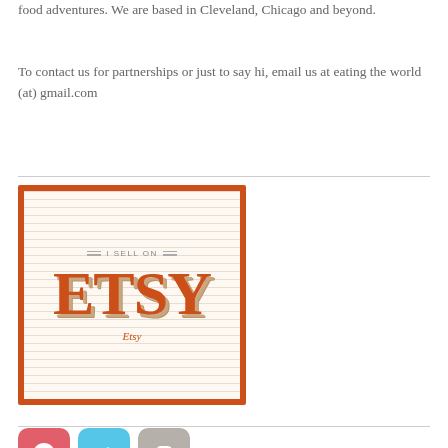food adventures. We are based in Cleveland, Chicago and beyond.
To contact us for partnerships or just to say hi, email us at eating the world (at) gmail.com
[Figure (logo): Etsy seller badge with orange border, horizontal line background, 'I SELL ON' text above large 'ETSY' logo text, and 'Etsy' caption below]
[Figure (illustration): Three social media icon buttons: Pinterest (red/pink rounded square with P icon), Twitter (light blue rounded square with bird icon), Instagram (gray rounded square with camera icon)]